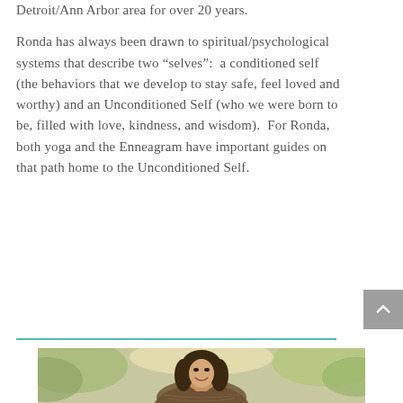Detroit/Ann Arbor area for over 20 years.
Ronda has always been drawn to spiritual/psychological systems that describe two “selves”:  a conditioned self (the behaviors that we develop to stay safe, feel loved and worthy) and an Unconditioned Self (who we were born to be, filled with love, kindness, and wisdom).  For Ronda, both yoga and the Enneagram have important guides on that path home to the Unconditioned Self.
[Figure (photo): A smiling woman with long dark hair wearing a patterned shawl or scarf over her head, photographed outdoors with blurred foliage in the background.]